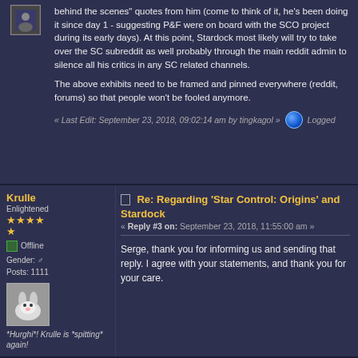behind the scenes" quotes from him (come to think of it, he's been doing it since day 1 - suggesting P&F were on board with the SCO project during its early days). At this point, Stardock most likely will try to take over the SC subreddit as well probably through the main reddit admin to silence all his critics in any SC related channels.

The above exhibits need to be framed and pinned everywhere (reddit, forums) so that people won't be fooled anymore.
« Last Edit: September 23, 2018, 09:02:14 am by tingkagol » Logged
Re: Regarding 'Star Control: Origins' and Stardock
« Reply #3 on: September 23, 2018, 11:55:00 am »
Krulle
Enlightened
★★★★
★
Offline
Gender: ♂
Posts: 1111
*Hurghi*! Krulle is *spitting* again!
Serge, thank you for informing us and sending that reply. I agree with your statements, and thank you for your care.
Logged